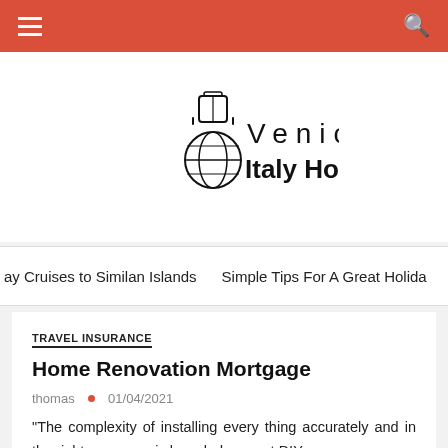Venice Italy Hotels — navigation bar
[Figure (logo): Venice Italy Hotels logo with luggage and globe icon, spaced-out 'Venice' text above 'Italy Hotels']
ay Cruises to Similan Islands    Simple Tips For A Great Holida
TRAVEL INSURANCE
Home Renovation Mortgage
thomas • 01/04/2021
"The complexity of installing every thing accurately and in the right sequence is knowledge most DIYers